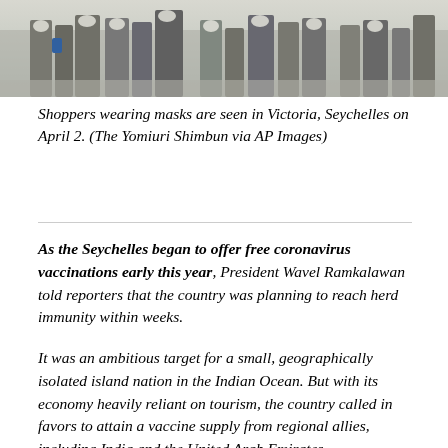[Figure (photo): Shoppers wearing masks walking in Victoria, Seychelles on April 2.]
Shoppers wearing masks are seen in Victoria, Seychelles on April 2. (The Yomiuri Shimbun via AP Images)
As the Seychelles began to offer free coronavirus vaccinations early this year, President Wavel Ramkalawan told reporters that the country was planning to reach herd immunity within weeks.
It was an ambitious target for a small, geographically isolated island nation in the Indian Ocean. But with its economy heavily reliant on tourism, the country called in favors to attain a vaccine supply from regional allies, including India and the United Arab Emirates.